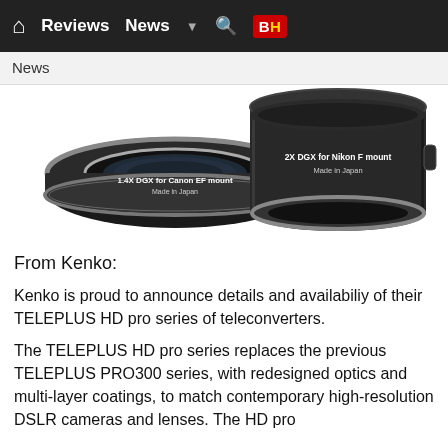🏠 Reviews  News  ▼  🔍  B&H
News
[Figure (photo): Two Kenko teleconverters side by side. Left: flat ring-shaped unit labeled '1.4X DGX for Canon EF mount / Made in Japan'. Right: taller cylindrical unit labeled '2X DGX for Nikon F mount / Made in Japan'. Both are black with silver metal lens mounts.]
From Kenko:
Kenko is proud to announce details and availabiliy of their TELEPLUS HD pro series of teleconverters.
The TELEPLUS HD pro series replaces the previous TELEPLUS PRO300 series, with redesigned optics and multi-layer coatings, to match contemporary high-resolution DSLR cameras and lenses. The HD pro